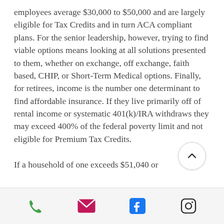employees average $30,000 to $50,000 and are largely eligible for Tax Credits and in turn ACA compliant plans. For the senior leadership, however, trying to find viable options means looking at all solutions presented to them, whether on exchange, off exchange, faith based, CHIP, or Short-Term Medical options. Finally, for retirees, income is the number one determinant to find affordable insurance. If they live primarily off of rental income or systematic 401(k)/IRA withdraws they may exceed 400% of the federal poverty limit and not eligible for Premium Tax Credits.

If a household of one exceeds $51,040 or